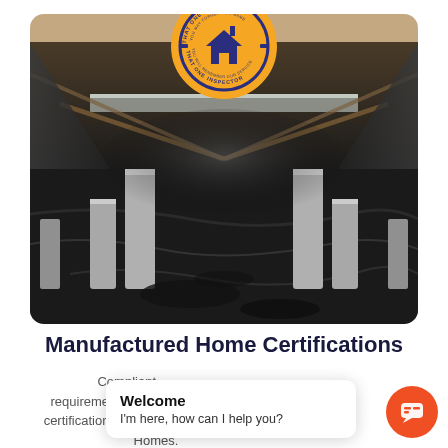[Figure (photo): Interior view of a crawl space beneath a manufactured home, showing concrete block piers, a dark vapor barrier on the ground, and the underside of the home's floor structure. A circular 'That One Inspector' logo is overlaid at the top center of the photo.]
Manufactured Home Certifications
Compliant with HUD requirements in the state, foundation certification for Manufactured or Mobile Homes.
[Figure (screenshot): Chat popup widget with 'Welcome' header and message 'I'm here, how can I help you?' alongside an orange circular chat icon button.]